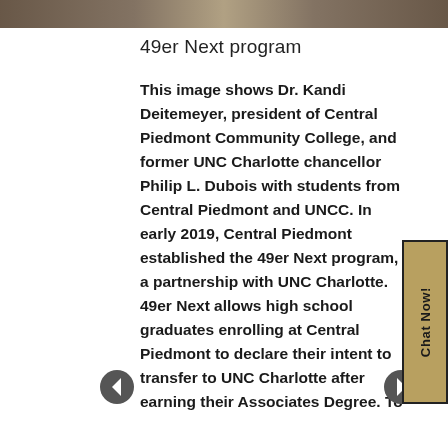[Figure (photo): Image strip at top of page showing a group photo related to the 49er Next program]
49er Next program
This image shows Dr. Kandi Deitemeyer, president of Central Piedmont Community College, and former UNC Charlotte chancellor Philip L. Dubois with students from Central Piedmont and UNCC. In early 2019, Central Piedmont established the 49er Next program, a partnership with UNC Charlotte. 49er Next allows high school graduates enrolling at Central Piedmont to declare their intent to transfer to UNC Charlotte after earning their Associates Degree. To